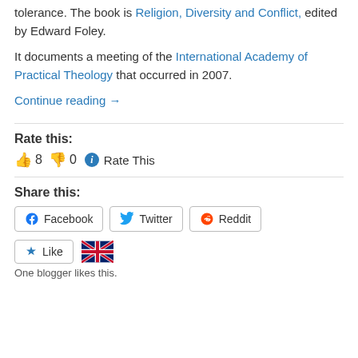tolerance. The book is Religion, Diversity and Conflict, edited by Edward Foley.
It documents a meeting of the International Academy of Practical Theology that occurred in 2007.
Continue reading →
Rate this:
👍 8 👎 0 ℹ Rate This
Share this:
Facebook  Twitter  Reddit
★ Like
One blogger likes this.